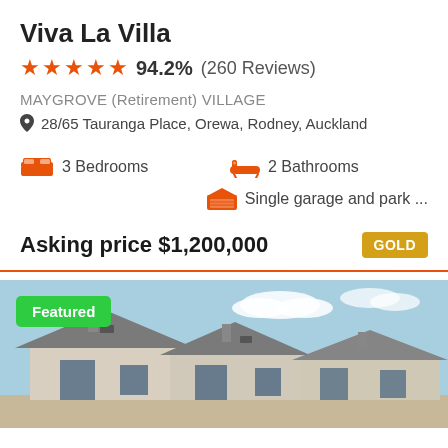Viva La Villa
★★★★★ 94.2% (260 Reviews)
MAYGROVE (Retirement) VILLAGE
📍 28/65 Tauranga Place, Orewa, Rodney, Auckland
3 Bedrooms   2 Bathrooms   Single garage and park ...
Asking price $1,200,000   GOLD
[Figure (photo): Exterior photo of retirement village houses with light-colored walls, dark roofs, and a blue sky background. A green 'Featured' badge overlays the top-left corner.]